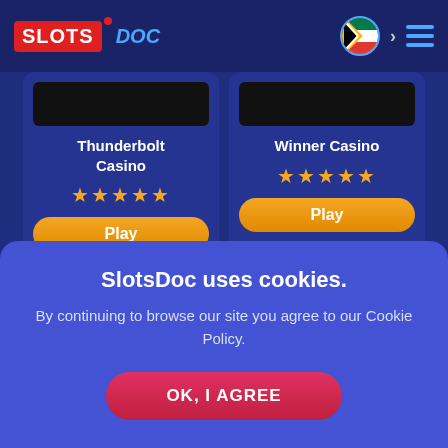[Figure (logo): SlotsDoc logo in header with red SLOTS box and blue DOC text]
[Figure (infographic): South Africa flag circle icon with chevron and hamburger menu]
Thunderbolt Casino
★★★★★
Play
Winner Casino
★★★★★
Play
Free Fantasy Slots Online
SlotsDoc uses cookies.
By continuing to browse our site you agree to our Cookie Policy.
OK, I AGREE